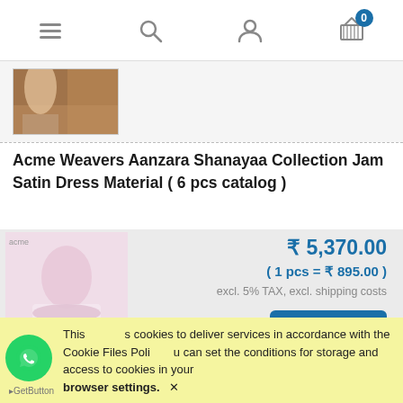Navigation bar with menu, search, user, and cart (0 items) icons
[Figure (photo): Thumbnail photo of a woman in traditional Indian dress on a carpet]
Acme Weavers Aanzara Shanayaa Collection Jam Satin Dress Material ( 6 pcs catalog )
[Figure (photo): Product photo of Jam Satin dress material in light pink/floral print]
₹ 5,370.00
( 1 pcs = ₹ 895.00 )
excl. 5% TAX, excl. shipping costs
order now
This uses cookies to deliver services in accordance with the Cookie Files Policy. You can set the conditions for storage and access to cookies in your browser settings. ✕
GetButton